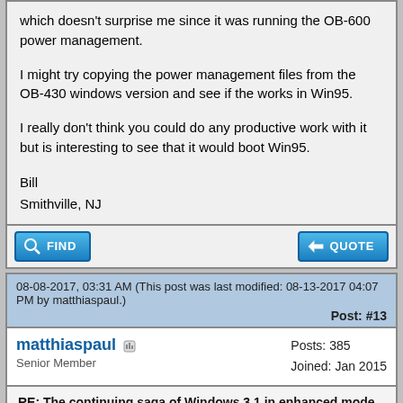which doesn't surprise me since it was running the OB-600 power management.
I might try copying the power management files from the OB-430 windows version and see if the works in Win95.
I really don't think you could do any productive work with it but is interesting to see that it would boot Win95.
Bill
Smithville, NJ
08-08-2017, 03:31 AM (This post was last modified: 08-13-2017 04:07 PM by matthiaspaul.) Post: #13
matthiaspaul
Senior Member
Posts: 385
Joined: Jan 2015
RE: The continuing saga of Windows 3.1 in enhanced mode on OmniBook 300
Dave Britten Wrote: (08-07-2017 12:12 PM)
I'd like to try that, but haven't found a good command line argument reference for QEMM yet.